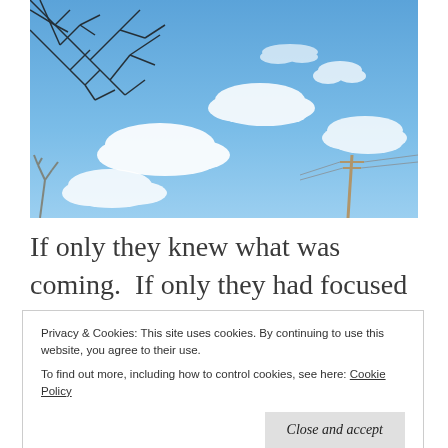[Figure (photo): Photograph of a blue sky with scattered white clouds and bare tree branches visible in the upper left corner. A utility pole is visible in the lower right area of the photo.]
If only they knew what was coming.  If only they had focused on what they know to be
Privacy & Cookies: This site uses cookies. By continuing to use this website, you agree to their use.
To find out more, including how to control cookies, see here: Cookie Policy
knew that they couldn't trust this weather,